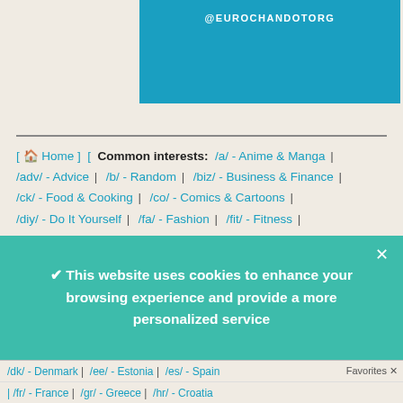@EUROCHANDOTORG
[ Home ] [ Common interests: /a/ - Anime & Manga | /adv/ - Advice | /b/ - Random | /biz/ - Business & Finance | /ck/ - Food & Cooking | /co/ - Comics & Cartoons | /diy/ - Do It Yourself | /fa/ - Fashion | /fit/ - Fitness | /g/ - Technology | /his/ - History & Humanities | /int/ - International | /lit/ - Literature | /mu/ - Music | /news/ - Current News | /out/ - Outdoors | /p/ - Photography | /pol/ - Politically Incorrect | /sci/ - Science & Math | /sp/ - Sports | /trv/ - Travel | /tv/ - Television & Film | /v/ - Video Games |
✔ This website uses cookies to enhance your browsing experience and provide a more personalized service
/dk/ - Denmark | /ee/ - Estonia | /es/ - Spain | Favorites ✕
| /fr/ - France | /gr/ - Greece | /hr/ - Croatia